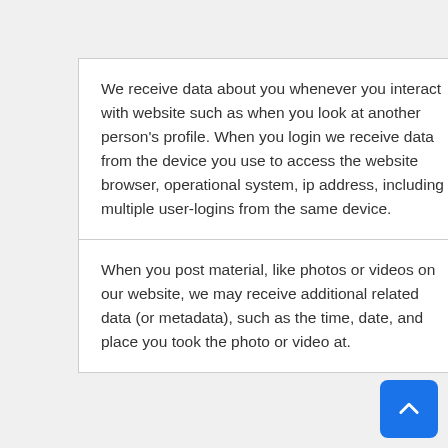We receive data about you whenever you interact with website such as when you look at another person's profile. When you login we receive data from the device you use to access the website browser, operational system, ip address, including multiple user-logins from the same device.
When you post material, like photos or videos on our website, we may receive additional related data (or metadata), such as the time, date, and place you took the photo or video at.